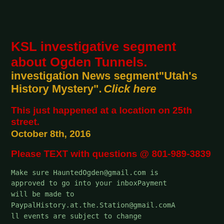KSL investigative segment about Ogden Tunnels. investigation News segment"Utah's History Mystery". Click here
This just happened at a location on 25th street. October 8th, 2016
Please TEXT with questions @ 801-989-3839
Make sure HauntedOgden@gmail.com is approved to go into your inboxPayment will be made to PaypalHistory.at.the.Station@gmail.comAll events are subject to change